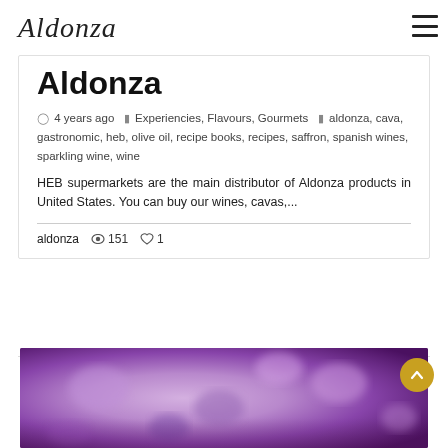Aldonza (logo)
Aldonza
4 years ago  Experiencies, Flavours, Gourmets  aldonza, cava, gastronomic, heb, olive oil, recipe books, recipes, saffron, spanish wines, sparkling wine, wine
HEB supermarkets are the main distributor of Aldonza products in United States. You can buy our wines, cavas,...
aldonza  151  1
[Figure (photo): Blurred purple/lavender floral background photo at bottom of page]